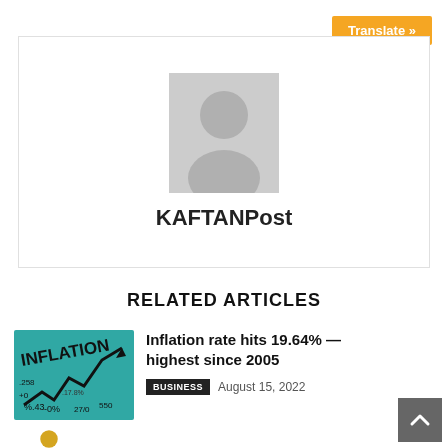Translate »
[Figure (illustration): Profile card with a generic grey avatar silhouette placeholder image and name KAFTANPost below it]
KAFTANPost
RELATED ARTICLES
[Figure (photo): Teal/turquoise image showing the word INFLATION with upward trending arrow graph and percentage numbers in background]
Inflation rate hits 19.64% — highest since 2005
BUSINESS  August 15, 2022